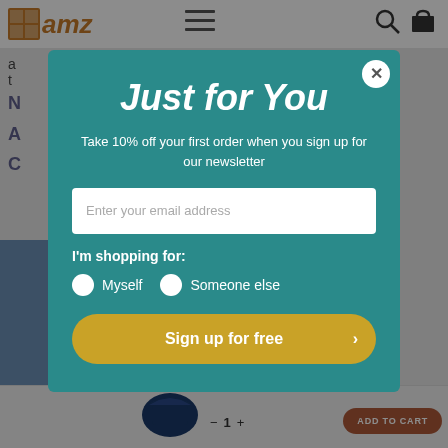[Figure (screenshot): AMZ website header with logo, hamburger menu icon, search icon, and cart icon on white background]
a
t
[Figure (infographic): Modal popup with teal background containing newsletter signup form. Title: Just for You. Subtitle: Take 10% off your first order when you sign up for our newsletter. Email input field, shopping preference radio buttons (Myself, Someone else), and Sign up for free button.]
Just for You
Take 10% off your first order when you sign up for our newsletter
Enter your email address
I'm shopping for:
Myself
Someone else
Sign up for free
[Figure (photo): Product thumbnail showing a dark blue patterned sweater/jacket at the bottom of the page]
ADD TO CART